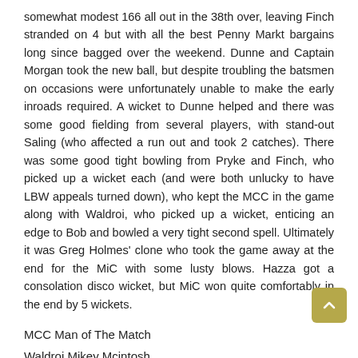somewhat modest 166 all out in the 38th over, leaving Finch stranded on 4 but with all the best Penny Markt bargains long since bagged over the weekend. Dunne and Captain Morgan took the new ball, but despite troubling the batsmen on occasions were unfortunately unable to make the early inroads required. A wicket to Dunne helped and there was some good fielding from several players, with stand-out Saling (who affected a run out and took 2 catches). There was some good tight bowling from Pryke and Finch, who picked up a wicket each (and were both unlucky to have LBW appeals turned down), who kept the MCC in the game along with Waldroi, who picked up a wicket, enticing an edge to Bob and bowled a very tight second spell. Ultimately it was Greg Holmes' clone who took the game away at the end for the MiC with some lusty blows. Hazza got a consolation disco wicket, but MiC won quite comfortably in the end by 5 wickets.
MCC Man of The Match
Waldroi Mikey Mcintosh
________________________________-
Match Details: MCC vs PRAGUE TOUR DE SANS, JULY 15